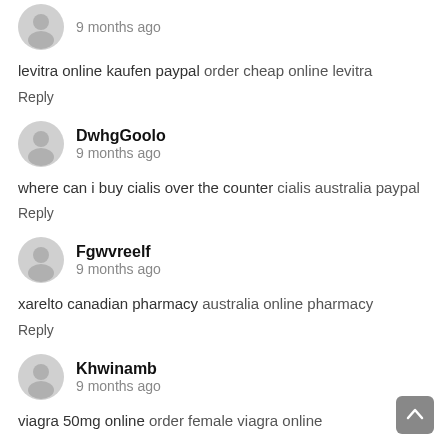9 months ago
levitra online kaufen paypal order cheap online levitra
Reply
DwhgGoolo
9 months ago
where can i buy cialis over the counter cialis australia paypal
Reply
Fgwvreelf
9 months ago
xarelto canadian pharmacy australia online pharmacy
Reply
Khwinamb
9 months ago
viagra 50mg online order female viagra online